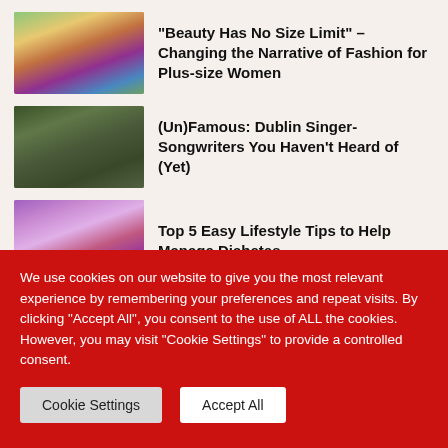“Beauty Has No Size Limit” – Changing the Narrative of Fashion for Plus-size Women
[Figure (photo): Woman in colorful outfit at a pool party, wearing a hat and floral cover-up with flamingo floats in background]
(Un)Famous: Dublin Singer-Songwriters You Haven’t Heard of (Yet)
[Figure (photo): Man playing acoustic guitar outdoors]
Top 5 Easy Lifestyle Tips to Help Manage Diabetes
[Figure (photo): Close-up of colorful flowers and ribbons, purple and blue tones]
We use cookies on our website to give you the most relevant experience by remembering your preferences and repeat visits. By clicking “Accept All”, you consent to the use of ALL the cookies. However, you may visit "Cookie Settings" to provide a controlled consent.